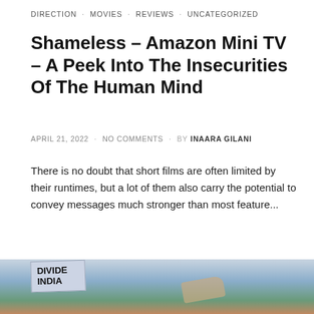DIRECTION · MOVIES · REVIEWS · UNCATEGORIZED
Shameless – Amazon Mini TV – A Peek Into The Insecurities Of The Human Mind
APRIL 21, 2022 · NO COMMENTS · BY INAARA GILANI
There is no doubt that short films are often limited by their runtimes, but a lot of them also carry the potential to convey messages much stronger than most feature...
VIEW POST
SHARE → (Facebook) (Twitter) (WhatsApp)
[Figure (photo): A person holding a sign that reads DIVIDE INDIA, with trees and other people visible in the background]